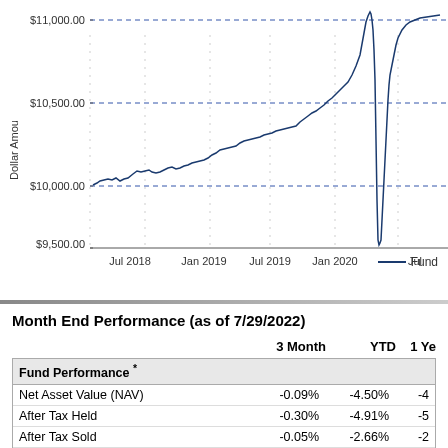[Figure (line-chart): Line chart showing fund growth from ~$10,000 in Jul 2018 rising to ~$11,000 with sharp drop near Jan 2020 and recovery, x-axis: Jul 2018, Jan 2019, Jul 2019, Jan 2020, Jul; y-axis: $9,500.00, $10,000.00, $10,500.00, $11,000.00]
— Fund
Month End Performance (as of 7/29/2022)
|  | 3 Month | YTD | 1 Ye |
| --- | --- | --- | --- |
| Fund Performance * |  |  |  |
| Net Asset Value (NAV) | -0.09% | -4.50% | -4 |
| After Tax Held | -0.30% | -4.91% | -5 |
| After Tax Sold | -0.05% | -2.66% | -2 |
| Market Price | -0.17% | -4.53% | -4 |
| Index Performance ** |  |  |  |